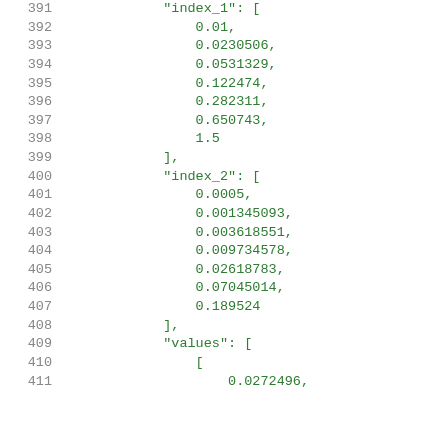391    "index_1": [
392        0.01,
393        0.0230506,
394        0.0531329,
395        0.122474,
396        0.282311,
397        0.650743,
398        1.5
399    ],
400    "index_2": [
401        0.0005,
402        0.001345093,
403        0.003618551,
404        0.009734578,
405        0.02618783,
406        0.07045014,
407        0.189524
408    ],
409    "values": [
410        [
411            0.0272496,